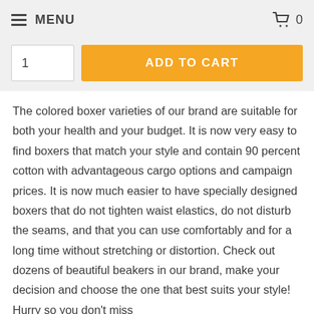≡ MENU   🛒 0
1   ADD TO CART
The colored boxer varieties of our brand are suitable for both your health and your budget. It is now very easy to find boxers that match your style and contain 90 percent cotton with advantageous cargo options and campaign prices. It is now much easier to have specially designed boxers that do not tighten waist elastics, do not disturb the seams, and that you can use comfortably and for a long time without stretching or distortion. Check out dozens of beautiful beakers in our brand, make your decision and choose the one that best suits your style! Hurry so you don't miss